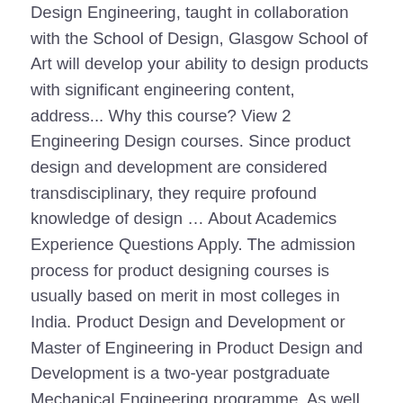Design Engineering, taught in collaboration with the School of Design, Glasgow School of Art will develop your ability to design products with significant engineering content, address... Why this course? View 2 Engineering Design courses. Since product design and development are considered transdisciplinary, they require profound knowledge of design … About Academics Experience Questions Apply. The admission process for product designing courses is usually based on merit in most colleges in India. Product Design and Development or Master of Engineering in Product Design and Development is a two-year postgraduate Mechanical Engineering programme. As well as other higher or middle degrees related to the activity. The Master in Product Design program combines cross-disciplinary studies of design thinking with hands-on experience. We therefore still